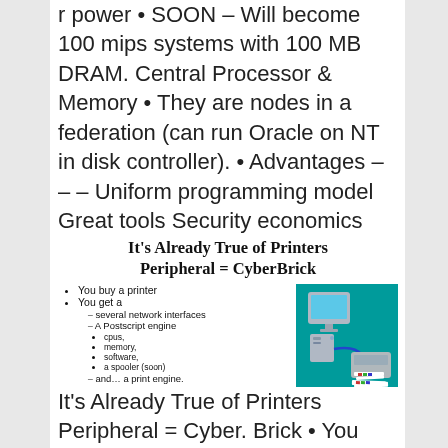r power • SOON – Will become 100 mips systems with 100 MB DRAM. Central Processor & Memory • They are nodes in a federation (can run Oracle on NT in disk controller). • Advantages – – – Uniform programming model Great tools Security economics (cyberbricks) Move computation to data (minimize traffic) Gray @ Nortel 20 April 1999 Tera Byte Backplane
[Figure (screenshot): Slide titled 'It's Already True of Printers Peripheral = CyberBrick' with bullet points about buying a printer and what you get (network interfaces, Postscript engine, cpus, memory, software, spooler), and an illustration of a computer connected to a printer on teal background.]
It's Already True of Printers Peripheral = Cyber. Brick • You buy a printer • You